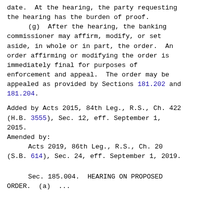date.  At the hearing, the party requesting the hearing has the burden of proof.
(g)  After the hearing, the banking commissioner may affirm, modify, or set aside, in whole or in part, the order.  An order affirming or modifying the order is immediately final for purposes of enforcement and appeal.  The order may be appealed as provided by Sections 181.202 and 181.204.
Added by Acts 2015, 84th Leg., R.S., Ch. 422 (H.B. 3555), Sec. 12, eff. September 1, 2015.
Amended by:
        Acts 2019, 86th Leg., R.S., Ch. 20 (S.B. 614), Sec. 24, eff. September 1, 2019.
Sec. 185.004.  HEARING ON PROPOSED ORDER.  (a) ...